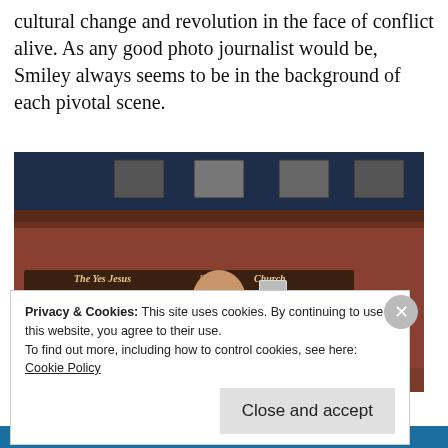cultural change and revolution in the face of conflict alive. As any good photo journalist would be, Smiley always seems to be in the background of each pivotal scene.
[Figure (photo): A man in a pink shirt holding up a book in front of a large red brick building with a sign reading 'The Yes Jesus Baptist Church']
Privacy & Cookies: This site uses cookies. By continuing to use this website, you agree to their use.
To find out more, including how to control cookies, see here:
Cookie Policy
Close and accept